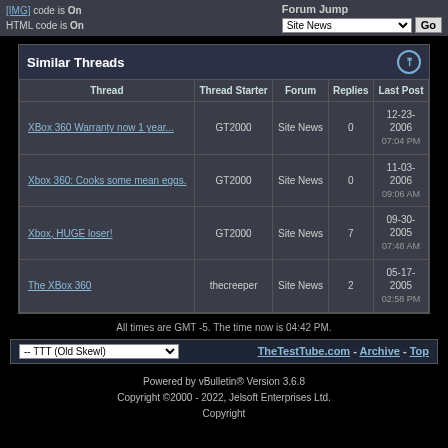[IMG] code is On
HTML code is On
Forum Jump: Site News Go
Similar Threads
| Thread | Thread Starter | Forum | Replies | Last Post |
| --- | --- | --- | --- | --- |
| XBox 360 Warranty now 1 year... | GT2000 | Site News | 0 | 12-23-2006 07:04 PM |
| Xbox 360: Cooks some mean eggs. | GT2000 | Site News | 0 | 11-03-2006 09:06 AM |
| Xbox, HUGE loser! | GT2000 | Site News | 7 | 09-30-2005 07:48 AM |
| The XBox 360 | thecreeper | Site News | 2 | 05-17-2005 02:58 PM |
All times are GMT -5. The time now is 04:42 PM.
-- TTT (Old Skewl)   TheTestTube.com - Archive - Top
Powered by vBulletin® Version 3.6.8
Copyright ©2000 - 2022, Jelsoft Enterprises Ltd.
Copyright